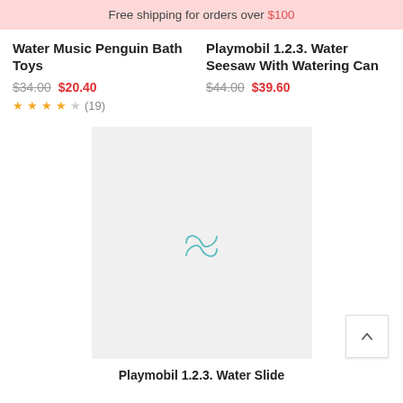Free shipping for orders over $100
Water Music Penguin Bath Toys
$34.00 $20.40
★★★★☆ (19)
Playmobil 1.2.3. Water Seesaw With Watering Can
$44.00 $39.60
[Figure (photo): Product image placeholder with loading spinner icon for Playmobil 1.2.3. Water Slide]
Playmobil 1.2.3. Water Slide